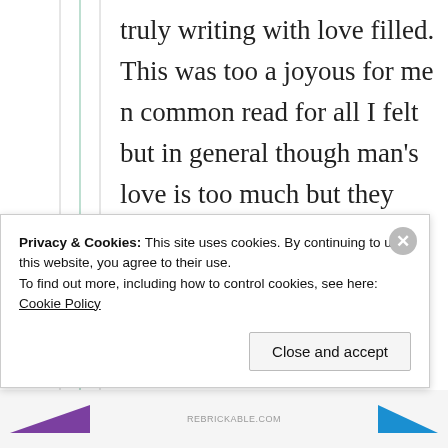truly writing with love filled. This was too a joyous for me n common read for all I felt but in general though man's love is too much but they express in simple ways than the woman was the Message I mentioned. No abuse or hurts Please. I
Privacy & Cookies: This site uses cookies. By continuing to use this website, you agree to their use. To find out more, including how to control cookies, see here: Cookie Policy
Close and accept